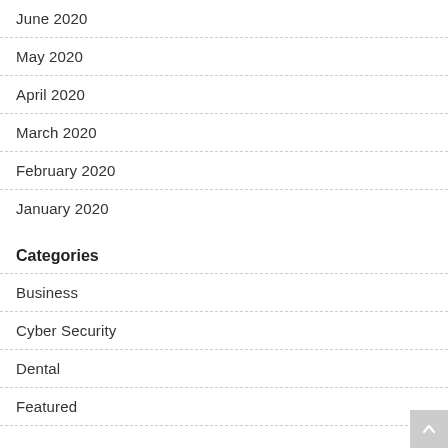June 2020
May 2020
April 2020
March 2020
February 2020
January 2020
Categories
Business
Cyber Security
Dental
Featured